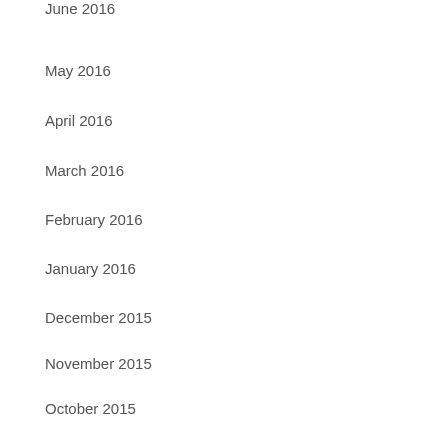June 2016
May 2016
April 2016
March 2016
February 2016
January 2016
December 2015
November 2015
October 2015
September 2015
Categories
Local Events
Uncategorized
Weekly Specials